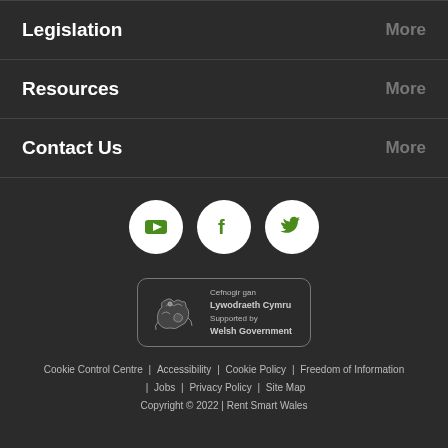Legislation | More
Resources | More
Contact Us | More
[Figure (illustration): Social media icons: YouTube, Facebook, Twitter in white circles on dark background]
[Figure (logo): Welsh Government supported by badge with dragon logo, text: Cefnogir gan Lywodraeth Cymru / Supported by Welsh Government]
Cookie Control Centre | Accessibility | Cookie Policy | Freedom of Information | Jobs | Privacy Policy | Site Map
Copyright © 2022 | Rent Smart Wales